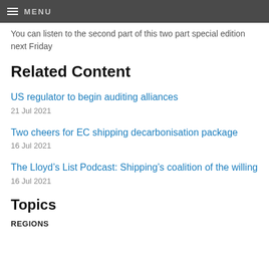MENU
You can listen to the second part of this two part special edition next Friday
Related Content
US regulator to begin auditing alliances
21 Jul 2021
Two cheers for EC shipping decarbonisation package
16 Jul 2021
The Lloyd’s List Podcast: Shipping’s coalition of the willing
16 Jul 2021
Topics
REGIONS